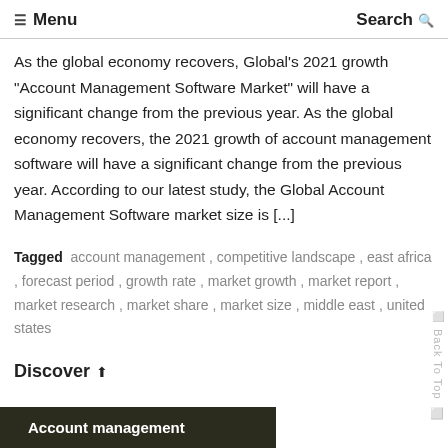☰ Menu   Search 🔍
As the global economy recovers, Global's 2021 growth "Account Management Software Market" will have a significant change from the previous year. As the global economy recovers, the 2021 growth of account management software will have a significant change from the previous year. According to our latest study, the Global Account Management Software market size is [...]
Tagged  account management , competitive landscape , east africa , forecast period , growth rate , market growth , market report , market research , market share , market size , middle east , united states
Discover ↗
Account management